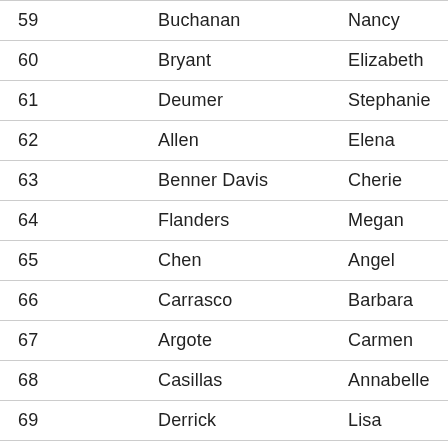| 59 | Buchanan | Nancy |
| 60 | Bryant | Elizabeth |
| 61 | Deumer | Stephanie |
| 62 | Allen | Elena |
| 63 | Benner Davis | Cherie |
| 64 | Flanders | Megan |
| 65 | Chen | Angel |
| 66 | Carrasco | Barbara |
| 67 | Argote | Carmen |
| 68 | Casillas | Annabelle |
| 69 | Derrick | Lisa |